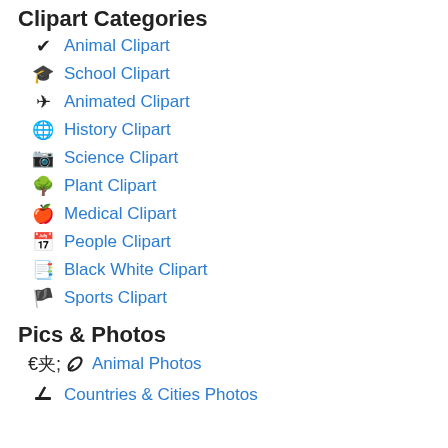Clipart Categories
Animal Clipart
School Clipart
Animated Clipart
History Clipart
Science Clipart
Plant Clipart
Medical Clipart
People Clipart
Black White Clipart
Sports Clipart
Pics & Photos
Animal Photos
Countries & Cities Photos